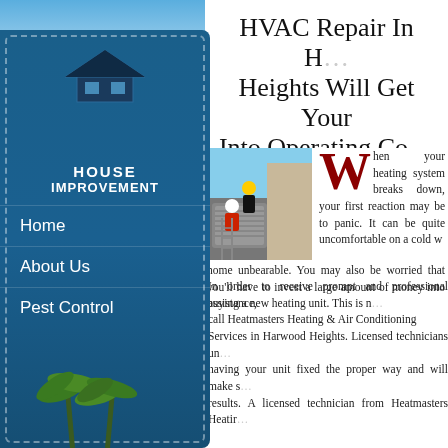[Figure (screenshot): Website screenshot showing HVAC repair service page with blue sidebar navigation menu on left (House Improvement logo, Home, About Us, Pest Control links) and main content on right with title, photo of HVAC technicians working on rooftop unit, and article text]
HVAC Repair In Harwood Heights Will Get Your System Into Operating Condition
When your heating system breaks down, your first reaction may be to panic. It can be quite uncomfortable on a cold winter day, and can make your home unbearable. You may also be worried that you'll have to invest a large amount of money into buying a new heating unit. This is not necessarily the case. In order to receive prompt and professional assistance, contact Heatmasters Heating Services in Harwood Heights. Licensed technicians understand the importance of having your unit fixed the proper way and will make sure you get the best possible results. A licensed technician from Heatmasters Heating